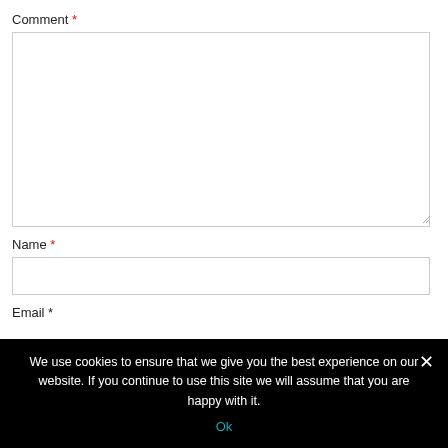Comment *
[Figure (screenshot): Empty comment textarea with resize handle at bottom right]
Name *
[Figure (screenshot): Empty name input field]
Email *
We use cookies to ensure that we give you the best experience on our website. If you continue to use this site we will assume that you are happy with it.
Ok